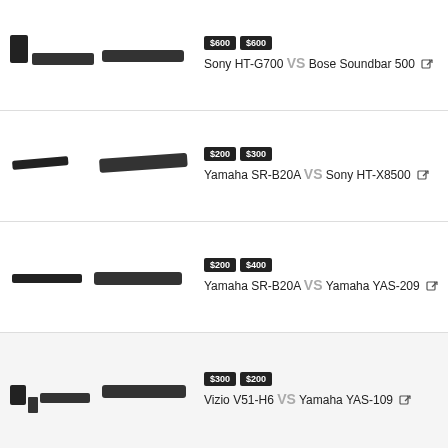$600 $600 — Sony HT-G700 VS Bose Soundbar 500
$200 $300 — Yamaha SR-B20A VS Sony HT-X8500
$200 $400 — Yamaha SR-B20A VS Yamaha YAS-209
$300 $200 — Vizio V51-H6 VS Yamaha YAS-109